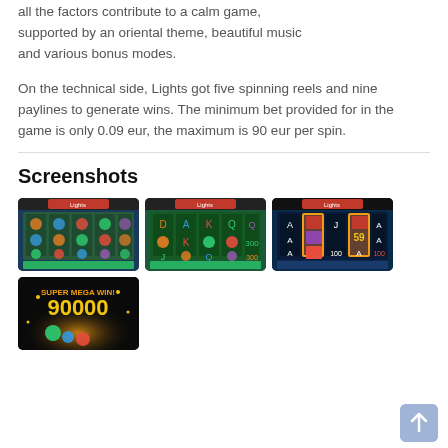all the factors contribute to a calm game, supported by an oriental theme, beautiful music and various bonus modes.
On the technical side, Lights got five spinning reels and nine paylines to generate wins. The minimum bet provided for in the game is only 0.09 eur, the maximum is 90 eur per spin.
Screenshots
[Figure (screenshot): Screenshot 1 of Lights slot game showing spinning reels with oriental theme]
[Figure (screenshot): Screenshot 2 of Lights slot game showing spinning reels]
[Figure (screenshot): Screenshot 3 of Lights slot game showing bonus mode with highlighted reels]
[Figure (screenshot): Screenshot 4 of Lights slot game showing SUPER MEGA WIN 90000]